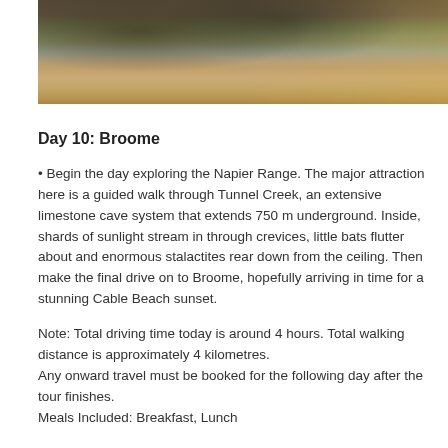[Figure (photo): Panoramic photo of a rocky landscape reflected in water, showing dark silhouettes and orange/brown cliff faces with reflections in the foreground water.]
Day 10: Broome
• Begin the day exploring the Napier Range. The major attraction here is a guided walk through Tunnel Creek, an extensive limestone cave system that extends 750 m underground. Inside, shards of sunlight stream in through crevices, little bats flutter about and enormous stalactites rear down from the ceiling. Then make the final drive on to Broome, hopefully arriving in time for a stunning Cable Beach sunset.
Note: Total driving time today is around 4 hours. Total walking distance is approximately 4 kilometres.
Any onward travel must be booked for the following day after the tour finishes.
Meals Included: Breakfast, Lunch